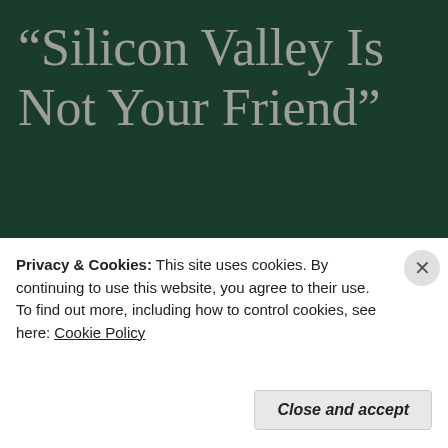“Silicon Valley Is Not Your Friend”
Alex   January 20, 2018 at 4:24 pm
Excellent weblog right here! Also your
Privacy & Cookies: This site uses cookies. By continuing to use this website, you agree to their use.
To find out more, including how to control cookies, see here: Cookie Policy
Close and accept